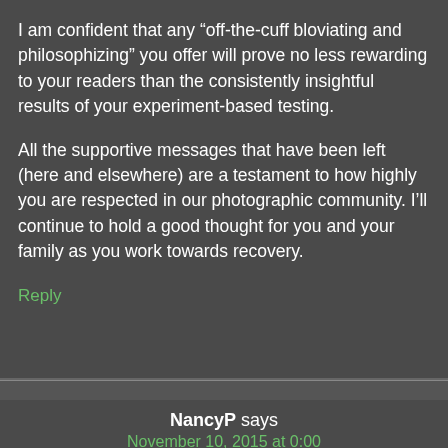I am confident that any “off-the-cuff bloviating and philosophizing” you offer will prove no less rewarding to your readers than the consistently insightful results of your experiment-based testing.

All the supportive messages that have been left (here and elsewhere) are a testament to how highly you are respected in our photographic community. I’ll continue to hold a good thought for you and your family as you work towards recovery.
Reply
NancyP says
November 10, 2015 at 0:00